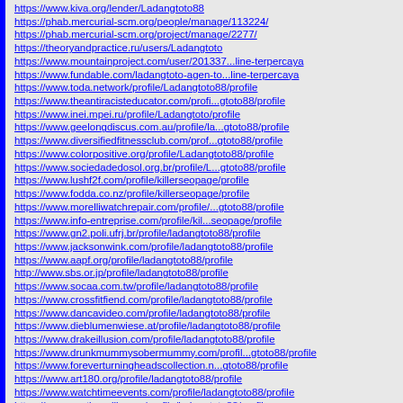https://www.kiva.org/lender/Ladangtoto88
https://phab.mercurial-scm.org/people/manage/113224/
https://phab.mercurial-scm.org/project/manage/2277/
https://theoryandpractice.ru/users/Ladangtoto
https://www.mountainproject.com/user/201337...line-terpercaya
https://www.fundable.com/ladangtoto-agen-to...line-terpercaya
https://www.toda.network/profile/Ladangtoto88/profile
https://www.theantiracisteducator.com/profi...gtoto88/profile
https://www.inei.mpei.ru/profile/Ladangtoto/profile
https://www.geelongdiscus.com.au/profile/la...gtoto88/profile
https://www.diversifiedfitnessclub.com/prof...gtoto88/profile
https://www.colorpositive.org/profile/Ladangtoto88/profile
https://www.sociedadedosol.org.br/profile/L...gtoto88/profile
https://www.lushf2f.com/profile/killerseopage/profile
https://www.fodda.co.nz/profile/killerseopage/profile
https://www.morelliwatchrepair.com/profile/...gtoto88/profile
https://www.info-entreprise.com/profile/kil...seopage/profile
https://www.gn2.poli.ufrj.br/profile/ladangtoto88/profile
https://www.jacksonwink.com/profile/ladangtoto88/profile
https://www.aapf.org/profile/ladangtoto88/profile
http://www.sbs.or.jp/profile/ladangtoto88/profile
https://www.socaa.com.tw/profile/ladangtoto88/profile
https://www.crossfitfiend.com/profile/ladangtoto88/profile
https://www.dancavideo.com/profile/ladangtoto88/profile
https://www.dieblumenwiese.at/profile/ladangtoto88/profile
https://www.drakeillusion.com/profile/ladangtoto88/profile
https://www.drunkmummysobermummy.com/profil...gtoto88/profile
https://www.foreverturningheadscollection.n...gtoto88/profile
https://www.art180.org/profile/ladangtoto88/profile
https://www.watchtimeevents.com/profile/ladangtoto88/profile
https://www.castigamillenary/profile/ladangtoto88/profile